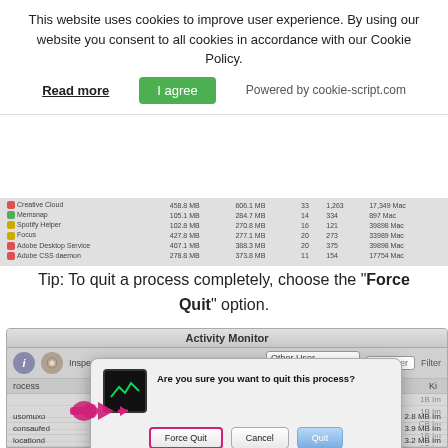This website uses cookies to improve user experience. By using our website you consent to all cookies in accordance with our Cookie Policy.
Read more | I agree | Powered by cookie-script.com
[Figure (screenshot): macOS Activity Monitor process list table, blurred/small, showing rows: Creative Cloud, Memsnap, Spotify helper, Focus, Adobe Desktop Service, Adobe CSS daemon with memory/CPU columns]
Tip: To quit a process completely, choose the "Force Quit" option.
[Figure (screenshot): macOS Activity Monitor window with a Force Quit confirmation dialog overlaid. The dialog shows an Activity Monitor icon, the question 'Are you sure you want to quit this process?' and three buttons: Force Quit (highlighted with pink border and hand pointer annotation), Cancel, and Quit (blue). The bottom of the Activity Monitor shows process rows for usomuxo, consaufed, locationd.]